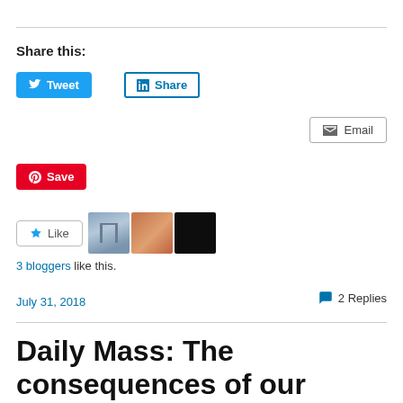Share this:
[Figure (other): Social sharing buttons: Tweet (Twitter), Share (LinkedIn), Email, Save (Pinterest)]
[Figure (other): Like button with 3 blogger avatars]
3 bloggers like this.
July 31, 2018
2 Replies
Daily Mass: The consequences of our actions. Catholic Inspiration